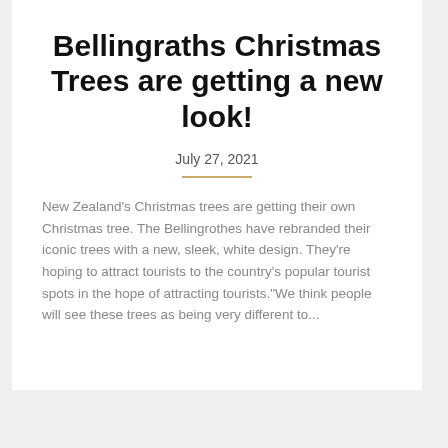Bellingraths Christmas Trees are getting a new look!
July 27, 2021
New Zealand's Christmas trees are getting their own Christmas tree. The Bellingrothes have rebranded their iconic trees with a new, sleek, white design. They're hoping to attract tourists to the country's popular tourist spots in the hope of attracting tourists."We think people will see these trees as being very different to...